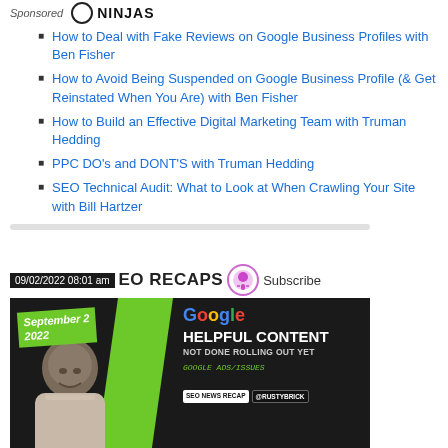Sponsored
How to Deal with Fake Reviews on Google Business Profiles with Ben Fisher
How to Avoid Being Suspended on Google Business Profile (& Get Reinstated When You Are) with Ben Fisher
How to Build an Effective Digital Marketing Team with Truman Hedding
PPC DO's and DONT'S with Truman Hedding
SEO Technical Audit: What to Look at When Crawling Your Site with Bill Hartzer
VIDEO RECAPS
09/02/2022 08:01 am
Subscribe
[Figure (screenshot): Video thumbnail showing September 2 2022 date label, a person, Google logo, HELPFUL CONTENT NOT DONE ROLLING OUT YET text, GOOGLE ADS/ISSUES, SEO NEWS RECAP and @RUSTYBRICK badges on dark background]